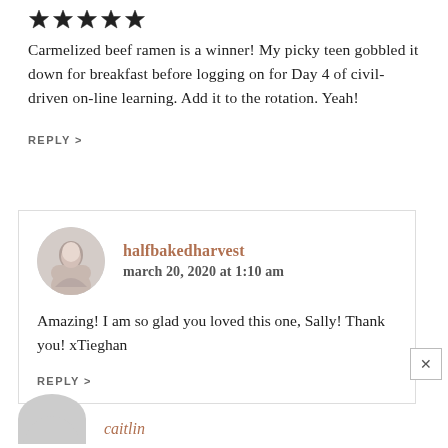[Figure (other): Five star rating icons (filled black stars)]
Carmelized beef ramen is a winner! My picky teen gobbled it down for breakfast before logging on for Day 4 of civil-driven on-line learning. Add it to the rotation. Yeah!
REPLY >
halfbakedharvest
march 20, 2020 at 1:10 am
Amazing! I am so glad you loved this one, Sally! Thank you! xTieghan
REPLY >
caitlin